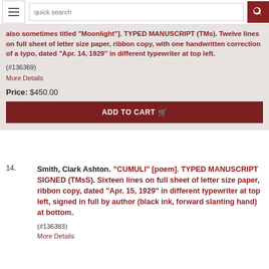quick search
also sometimes titled "Moonlight"]. TYPED MANUSCRIPT (TMs). Twelve lines on full sheet of letter size paper, ribbon copy, with one handwritten correction of a typo, dated "Apr. 14, 1929" in different typewriter at top left.
(#136369)
More Details
Price: $450.00
ADD TO CART
14.	Smith, Clark Ashton. "CUMULI" [poem]. TYPED MANUSCRIPT SIGNED (TMsS). Sixteen lines on full sheet of letter size paper, ribbon copy, dated "Apr. 15, 1929" in different typewriter at top left, signed in full by author (black ink, forward slanting hand) at bottom.
(#136383)
More Details